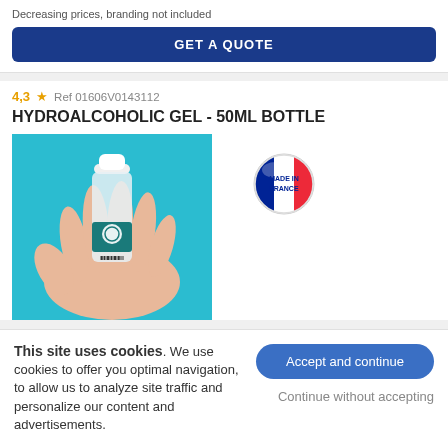Decreasing prices, branding not included
GET A QUOTE
4,3 ★  Ref 01606V0143112
HYDROALCOHOLIC GEL - 50ML BOTTLE
[Figure (photo): A hand holding a small 50ml hydroalcoholic gel bottle with a white cap and teal label, on a teal/blue background. A 'Made in France' badge is shown to the right.]
This site uses cookies. We use cookies to offer you optimal navigation, to allow us to analyze site traffic and personalize our content and advertisements.
Accept and continue
Continue without accepting